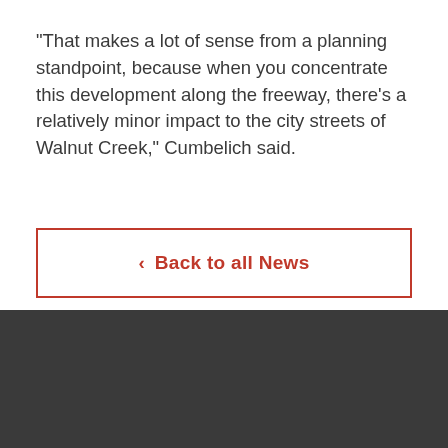“That makes a lot of sense from a planning standpoint, because when you concentrate this development along the freeway, there’s a relatively minor impact to the city streets of Walnut Creek,” Cumbelich said.
< Back to all News
COMPANY
PROJECTS